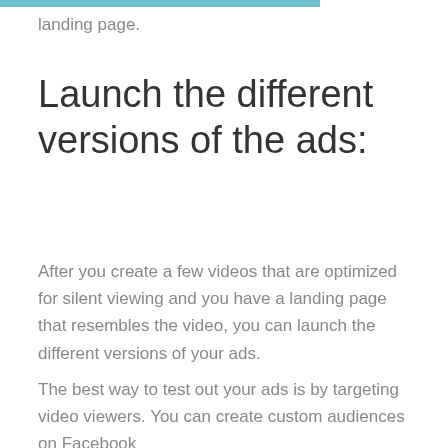landing page.
Launch the different versions of the ads:
After you create a few videos that are optimized for silent viewing and you have a landing page that resembles the video, you can launch the different versions of your ads.
The best way to test out your ads is by targeting video viewers. You can create custom audiences on Facebook